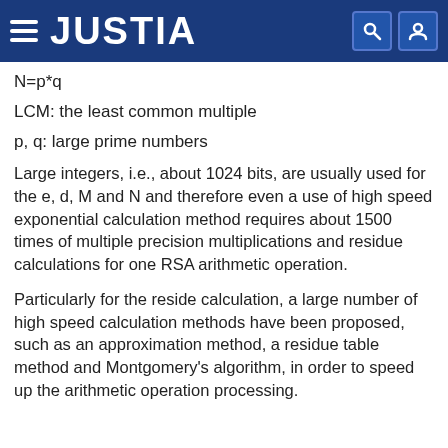JUSTIA
LCM: the least common multiple
p, q: large prime numbers
Large integers, i.e., about 1024 bits, are usually used for the e, d, M and N and therefore even a use of high speed exponential calculation method requires about 1500 times of multiple precision multiplications and residue calculations for one RSA arithmetic operation.
Particularly for the reside calculation, a large number of high speed calculation methods have been proposed, such as an approximation method, a residue table method and Montgomery's algorithm, in order to speed up the arithmetic operation processing.